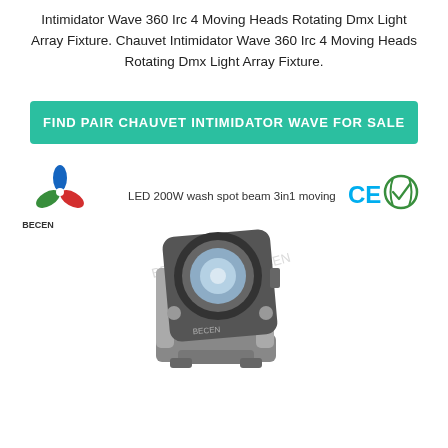Intimidator Wave 360 Irc 4 Moving Heads Rotating Dmx Light Array Fixture. Chauvet Intimidator Wave 360 Irc 4 Moving Heads Rotating Dmx Light Array Fixture.
FIND PAIR CHAUVET INTIMIDATOR WAVE FOR SALE
[Figure (photo): Product photo of a BECEN LED 200W wash spot beam 3in1 moving head light fixture, shown with CE certification mark. The moving head is silver and black, with a large front lens visible.]